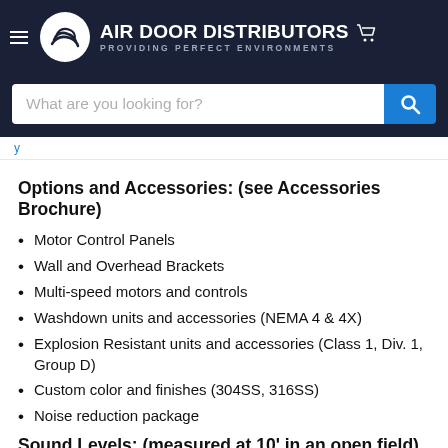AIR DOOR DISTRIBUTORS — PROVIDING PERFECT ENVIRONMENTS
Options and Accessories: (see Accessories Brochure)
Motor Control Panels
Wall and Overhead Brackets
Multi-speed motors and controls
Washdown units and accessories (NEMA 4 & 4X)
Explosion Resistant units and accessories (Class 1, Div. 1, Group D)
Custom color and finishes (304SS, 316SS)
Noise reduction package
Sound Levels: (measured at 10' in an open field)